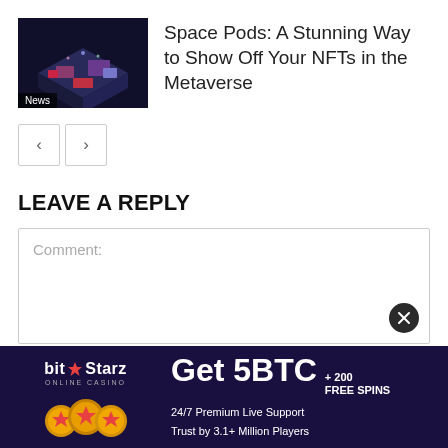[Figure (screenshot): Article thumbnail showing a 3D isometric rendering of futuristic space pod rooms on dark background with 'News' badge]
Space Pods: A Stunning Way to Show Off Your NFTs in the Metaverse
< >
LEAVE A REPLY
Comment:
[Figure (infographic): BitStarz Online Casino advertisement banner. Text: bit★Starz ONLINE CASINO. Get 5BTC + 200 FREE SPINS. 24/7 Premium Live Support. Trust by 3.1+ Million Players.]